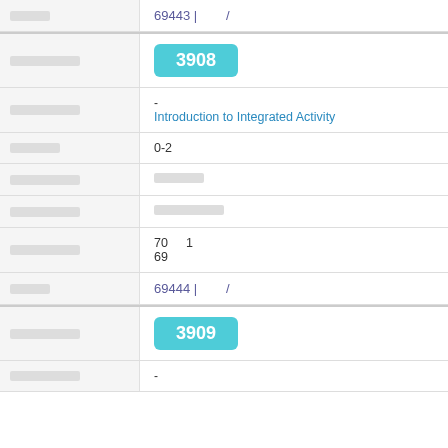| 번호 | 69443 | /  |
| 강좌명칭 | 3908 |
| 강좌설명 | - Introduction to Integrated Activity |
| 학점수 | 0-2 |
| 강좌분류 | □□□ |
| 강좌유형 | □□□□ |
| 수강인원 | 70  1
69 |
| 번호 | 69444 | /  |
| 강좌명칭 | 3909 |
| 강좌설명 | - |